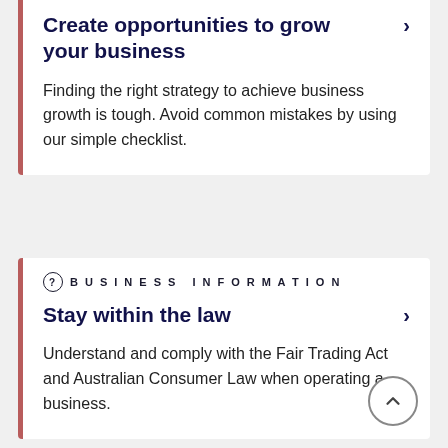Create opportunities to grow your business
Finding the right strategy to achieve business growth is tough. Avoid common mistakes by using our simple checklist.
BUSINESS INFORMATION
Stay within the law
Understand and comply with the Fair Trading Act and Australian Consumer Law when operating a business.